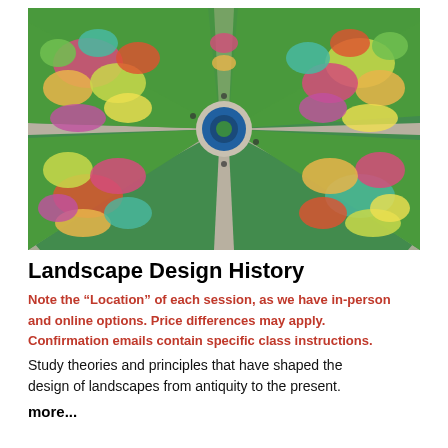[Figure (photo): Aerial view of a formal garden with symmetrical radiating pathways, green lawns, and colorful flower beds arranged in a geometric pattern around a central circular fountain or feature.]
Landscape Design History
Note the "Location" of each session, as we have in-person and online options. Price differences may apply. Confirmation emails contain specific class instructions.
Study theories and principles that have shaped the design of landscapes from antiquity to the present.
more...